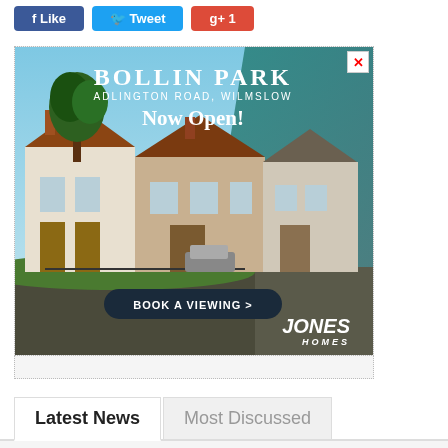[Figure (screenshot): Social media share buttons: Like (Facebook, blue), Tweet (Twitter, light blue), and Google+ (red/orange)]
[Figure (photo): Advertisement for Bollin Park, Adlington Road, Wilmslow. Shows residential houses with text 'Now Open!' and a 'Book A Viewing >' button. Jones Homes logo at bottom right. Close button (X) at top right.]
Latest News
Most Discussed
Wilmslow High students celebrate strong set of